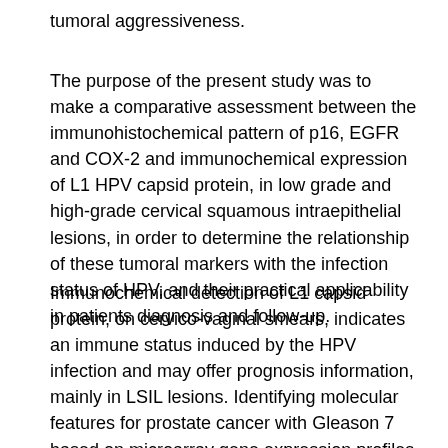tumoral aggressiveness.
The purpose of the present study was to make a comparative assessment between the immunohistochemical pattern of p16, EGFR and COX-2 and immunochemical expression of L1 HPV capsid protein, in low grade and high-grade cervical squamous intraepithelial lesions, in order to determine the relationship of these tumoral markers with the infection status of HPV, and their practical applicability in patients diagnosis and follow-up.
Immunochemical detection of L1 capsid protein, on cervico-vaginal smears, indicates an immune status induced by the HPV infection and may offer prognosis information, mainly in LSIL lesions. Identifying molecular features for prostate cancer with Gleason 7 based on microarray gene expression profiles Loredana